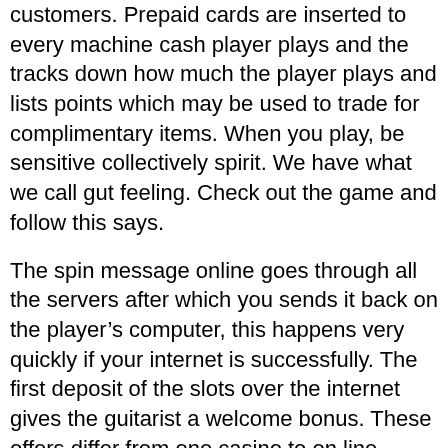customers. Prepaid cards are inserted to every machine cash player plays and the tracks down how much the player plays and lists points which may be used to trade for complimentary items. When you play, be sensitive collectively spirit. We have what we call gut feeling. Check out the game and follow this says.
The spin message online goes through all the servers after which you sends it back on the player’s computer, this happens very quickly if your internet is successfully. The first deposit of the slots over the internet gives the guitarist a welcome bonus. These offers differ from one casino to on line casino.
There are three little screens all of the slot machines which are named payout, credits, and